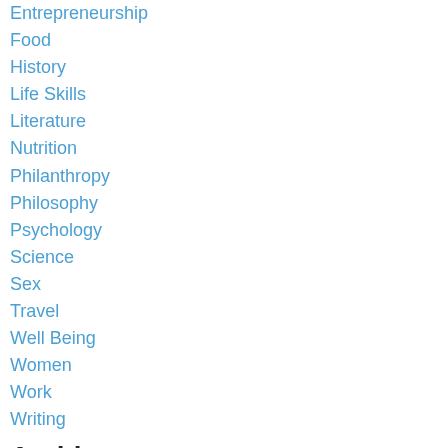Entrepreneurship
Food
History
Life Skills
Literature
Nutrition
Philanthropy
Philosophy
Psychology
Science
Sex
Travel
Well Being
Women
Work
Writing
Archives
December 2021
August 2021
May 2021